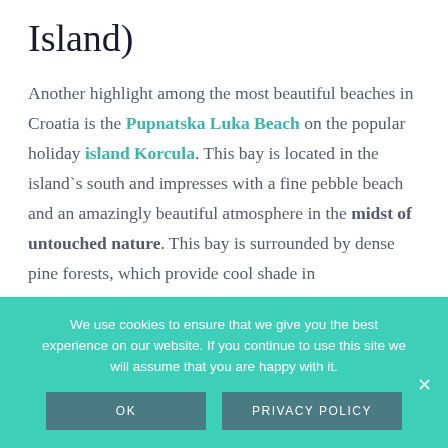Island)
Another highlight among the most beautiful beaches in Croatia is the Pupnatska Luka Beach on the popular holiday island Korcula. This bay is located in the island`s south and impresses with a fine pebble beach and an amazingly beautiful atmosphere in the midst of untouched nature. This bay is surrounded by dense pine forests, which provide cool shade in
We use cookies to ensure that we give you the best experience on our website. If you continue to use this site we will assume that you are happy with it.
OK   PRIVACY POLICY